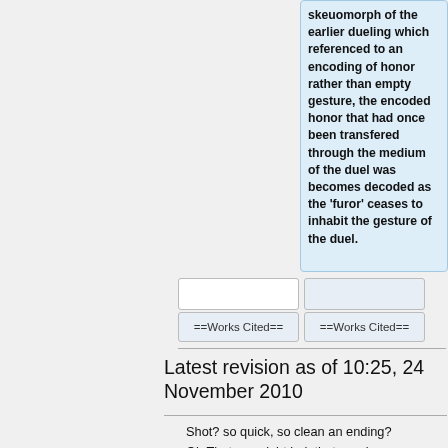skeuomorph of the earlier dueling which referenced to an encoding of honor rather than empty gesture, the encoded honor that had once been transfered through the medium of the duel was becomes decoded as the 'furor' ceases to inhabit the gesture of the duel.
==Works Cited==
==Works Cited==
Latest revision as of 10:25, 24 November 2010
Shot? so quick, so clean an ending?
Oh That was right lad, that was brave: